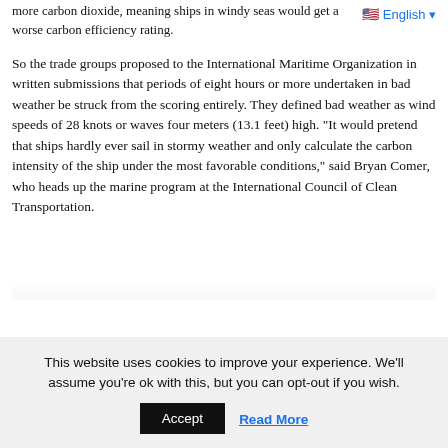more carbon dioxide, meaning ships in windy seas would get a worse carbon efficiency rating.
So the trade groups proposed to the International Maritime Organization in written submissions that periods of eight hours or more undertaken in bad weather be struck from the scoring entirely. They defined bad weather as wind speeds of 28 knots or waves four meters (13.1 feet) high. “It would pretend that ships hardly ever sail in stormy weather and only calculate the carbon intensity of the ship under the most favorable conditions,” said Bryan Comer, who heads up the marine program at the International Council of Clean Transportation.
This website uses cookies to improve your experience. We’ll assume you're ok with this, but you can opt-out if you wish.
Accept
Read More